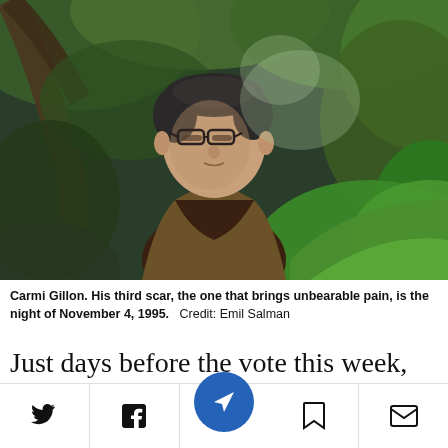[Figure (photo): Portrait photo of an elderly man with glasses, wearing a brown blazer over a dark shirt, standing outdoors surrounded by green foliage and trees. The background is lush and green.]
Carmi Gillon. His third scar, the one that brings unbearable pain, is the night of November 4, 1995.   Credit: Emil Salman
Just days before the vote this week, Gillon appeared in a video wi  e other former heads
Social share bar with Twitter, Facebook, Newspoint, Bookmark, and Email icons